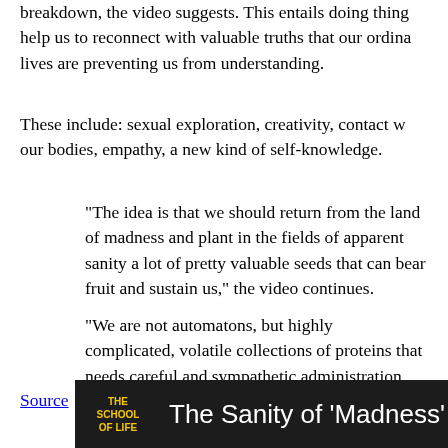breakdown, the video suggests. This entails doing things that help us to reconnect with valuable truths that our ordinary lives are preventing us from understanding.
These include: sexual exploration, creativity, contact with our bodies, empathy, a new kind of self-knowledge.
"The idea is that we should return from the land of madness and plant in the fields of apparent sanity a lot of pretty valuable seeds that can bear fruit and sustain us," the video continues.
"We are not automatons, but highly complicated, volatile collections of proteins that needs careful and sympathetic administration. We should expect that periods of madness just do belong to every wise and good life."
Source
[Figure (screenshot): Video thumbnail showing 'The School of Life' logo in yellow on dark background with title 'The Sanity of Madness']